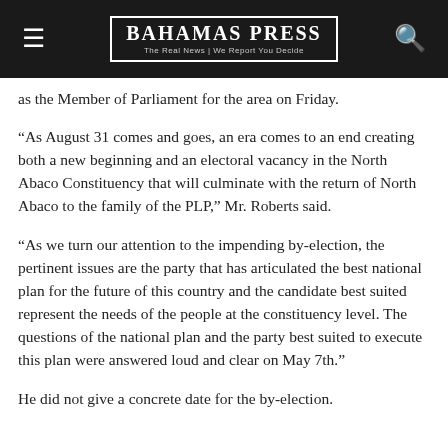Bahamas Press — The Real News | We Report You Decide
as the Member of Parliament for the area on Friday.
“As August 31 comes and goes, an era comes to an end creating both a new beginning and an electoral vacancy in the North Abaco Constituency that will culminate with the return of North Abaco to the family of the PLP,” Mr. Roberts said.
“As we turn our attention to the impending by-election, the pertinent issues are the party that has articulated the best national plan for the future of this country and the candidate best suited represent the needs of the people at the constituency level. The questions of the national plan and the party best suited to execute this plan were answered loud and clear on May 7th.”
He did not give a concrete date for the by-election.